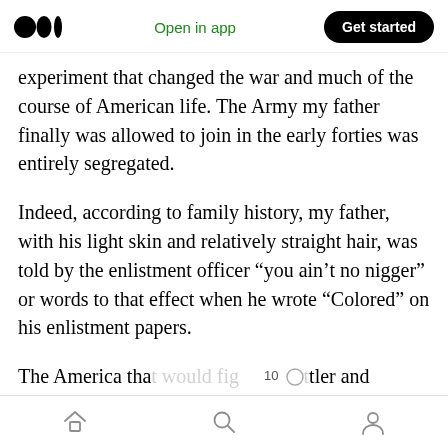Medium logo | Open in app | Get started
experiment that changed the war and much of the course of American life. The Army my father finally was allowed to join in the early forties was entirely segregated.
Indeed, according to family history, my father, with his light skin and relatively straight hair, was told by the enlistment officer “you ain’t no nigger” or words to that effect when he wrote “Colored” on his enlistment papers.
The America that would fight Hitler and fascism in Asia and Europe was as virulently racist as
Home | Search | Profile